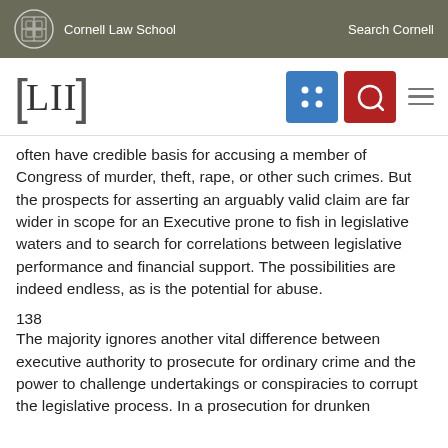Cornell Law School | Search Cornell
[Figure (logo): LII Legal Information Institute logo with navigation icons]
often have credible basis for accusing a member of Congress of murder, theft, rape, or other such crimes. But the prospects for asserting an arguably valid claim are far wider in scope for an Executive prone to fish in legislative waters and to search for correlations between legislative performance and financial support. The possibilities are indeed endless, as is the potential for abuse.
138
The majority ignores another vital difference between executive authority to prosecute for ordinary crime and the power to challenge undertakings or conspiracies to corrupt the legislative process. In a prosecution for drunken